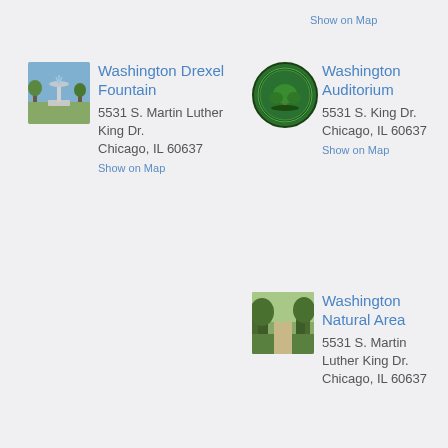Show on Map
[Figure (photo): Photo of Washington Drexel Fountain, a fountain in a park]
Washington Drexel Fountain
5531 S. Martin Luther King Dr.
Chicago, IL 60637
Show on Map
[Figure (logo): Circular green seal/logo with tree and text]
Washington Auditorium
5531 S. King Dr.
Chicago, IL 60637
Show on Map
[Figure (photo): Photo of a path through Washington Natural Area with trees]
Washington Natural Area
5531 S. Martin Luther King Dr.
Chicago, IL 60637